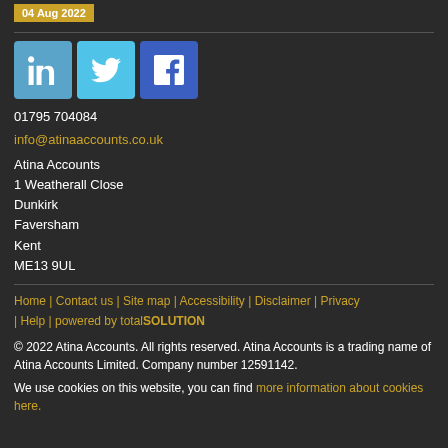04 Aug 2022
[Figure (logo): Social media icons: LinkedIn (blue), Twitter (light blue), Facebook (dark blue)]
01795 704084
info@atinaaccounts.co.uk
Atina Accounts
1 Weatherall Close
Dunkirk
Faversham
Kent
ME13 9UL
Home | Contact us | Site map | Accessibility | Disclaimer | Privacy | Help | powered by totalSOLUTION
© 2022 Atina Accounts. All rights reserved. Atina Accounts is a trading name of Atina Accounts Limited. Company number 12591142.
We use cookies on this website, you can find more information about cookies here.